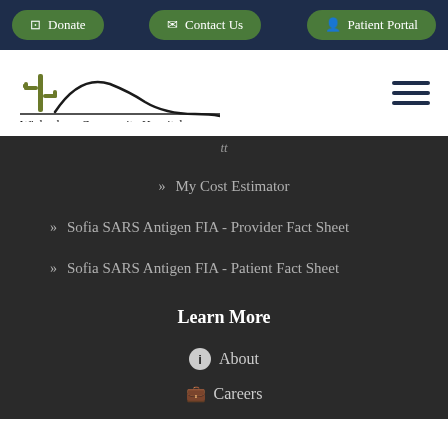Donate | Contact Us | Patient Portal
[Figure (logo): Wickenburg Community Hospital logo with cactus and mountain silhouette]
My Cost Estimator
Sofia SARS Antigen FIA - Provider Fact Sheet
Sofia SARS Antigen FIA - Patient Fact Sheet
Learn More
About
Careers